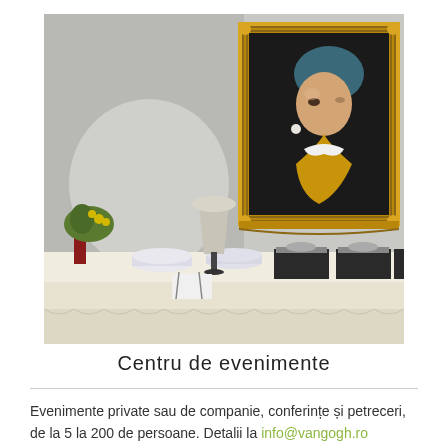[Figure (photo): Interior photo of an event room with a buffet table covered with a white tablecloth with ruffled edges, stacked plates, cutlery, a small table lamp, flower arrangements in red vases, and silver chafing dishes. On the wall hangs a large ornate gold-framed reproduction of Vermeer's 'Girl with a Pearl Earring'.]
Centru de evenimente
Evenimente private sau de companie, conferințe și petreceri, de la 5 la 200 de persoane. Detalii la info@vangogh.ro